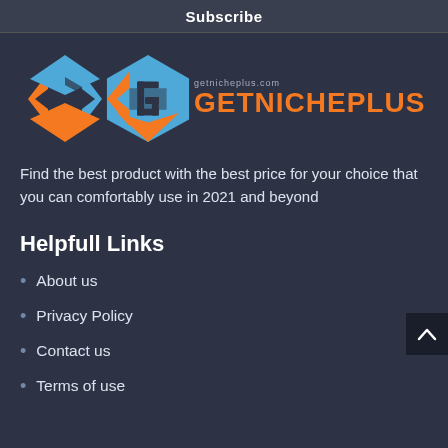Subscribe
[Figure (logo): GetNichePlus logo with geometric diamond/chevron shape in blue and orange, followed by orange text GETNICHEPLUS]
Find the best product with the best price for your choice that you can comfortably use in 2021 and beyond
Helpfull Links
About us
Privacy Policy
Contact us
Terms of use